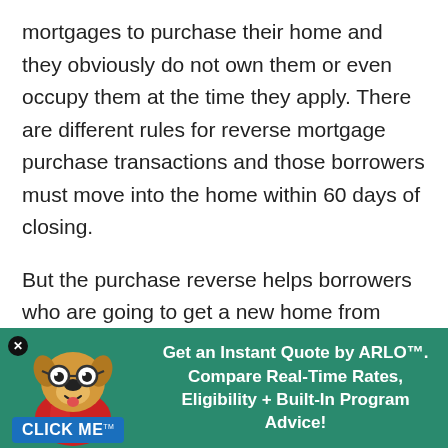mortgages to purchase their home and they obviously do not own them or even occupy them at the time they apply. There are different rules for reverse mortgage purchase transactions and those borrowers must move into the home within 60 days of closing.
But the purchase reverse helps borrowers who are going to get a new home from having to pay for two sets of closing costs on two different transactions (a purchase and then a
[Figure (illustration): Promotional banner with green background featuring an animated dog mascot wearing glasses and a red cape, a blue 'CLICK ME' button, a close (x) button, and text 'Get an Instant Quote by ARLO™. Compare Real-Time Rates, Eligibility + Built-In Program Advice!']